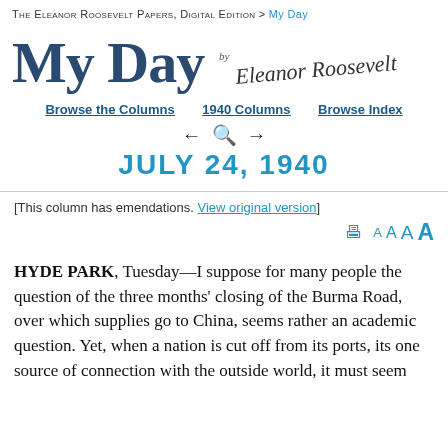The Eleanor Roosevelt Papers, Digital Edition > My Day
My Day by Eleanor Roosevelt
Browse the Columns | 1940 Columns | Browse Index
← 🔍 → JULY 24, 1940
[This column has emendations. View original version]
HYDE PARK, Tuesday—I suppose for many people the question of the three months' closing of the Burma Road, over which supplies go to China, seems rather an academic question. Yet, when a nation is cut off from its ports, its one source of connection with the outside world, it must seem